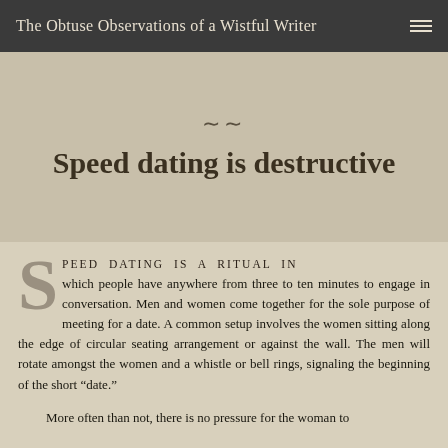The Obtuse Observations of a Wistful Writer
Speed dating is destructive
SPEED DATING IS A RITUAL IN which people have anywhere from three to ten minutes to engage in conversation. Men and women come together for the sole purpose of meeting for a date. A common setup involves the women sitting along the edge of circular seating arrangement or against the wall. The men will rotate amongst the women and a whistle or bell rings, signaling the beginning of the short “date.”
More often than not, there is no pressure for the woman to